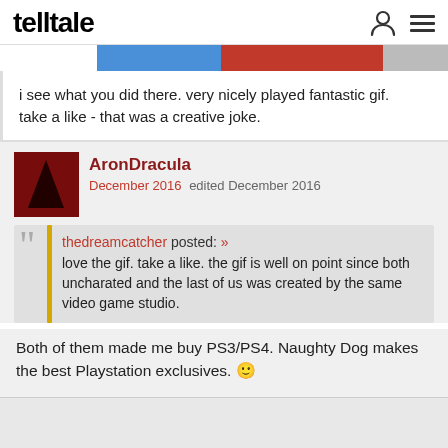telltale
i see what you did there. very nicely played fantastic gif. take a like - that was a creative joke.
AronDracula
December 2016   edited December 2016
thedreamcatcher posted: »
love the gif. take a like. the gif is well on point since both uncharated and the last of us was created by the same video game studio.
Both of them made me buy PS3/PS4. Naughty Dog makes the best Playstation exclusives. 🙂